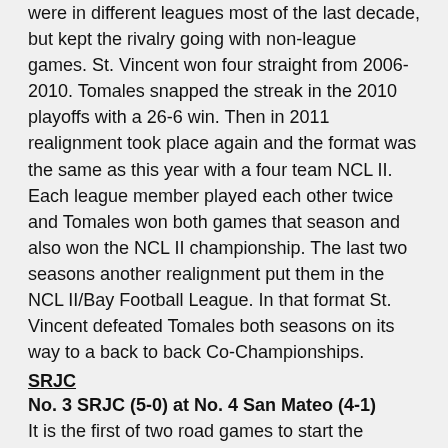were in different leagues most of the last decade, but kept the rivalry going with non-league games.  St. Vincent won four straight from 2006-2010.  Tomales snapped the streak in the 2010 playoffs with a 26-6 win.  Then in 2011 realignment took place again and the format was the same as this year with a four team NCL II.   Each league member played each other twice and Tomales won both games that season and also won the NCL II championship.   The last two seasons another realignment put them in the NCL II/Bay Football League.  In that format St. Vincent defeated Tomales both seasons on its way to a back to back Co-Championships.
SRJC
No. 3 SRJC (5-0) at No. 4 San Mateo (4-1)
It is the first of two road games to start the conference race.  Next week it is at San Francisco, who has been as high as No. 3 in the state.   This week it is at San Mateo, who was No. 1 going into last week before dropping its first game to American River 24-14.  American River takes over at No. 1.  If you look at common opponents, this doesn't look like a good matchup for SRJC.  Both teams have played San Jose...